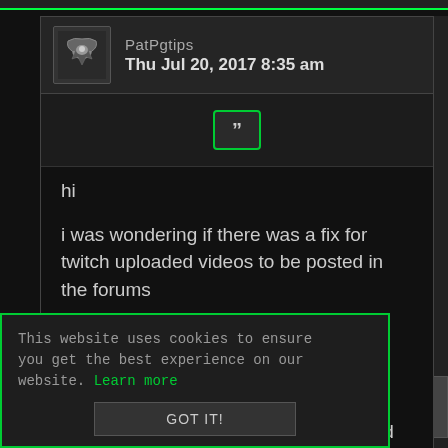PatPgtips
Thu Jul 20, 2017 8:35 am
[Figure (illustration): Quote button icon with double quotation marks, green border]
hi

i was wondering if there was a fix for twitch uploaded videos to be posted in the forums

i find that when i upload my videos to twitch i get better quality

when uploading to youtube my quality totaly changes and isnt what i uploaded

is it possible to add it so i can use this twitch
This website uses cookies to ensure you get the best experience on our website. Learn more

GOT IT!